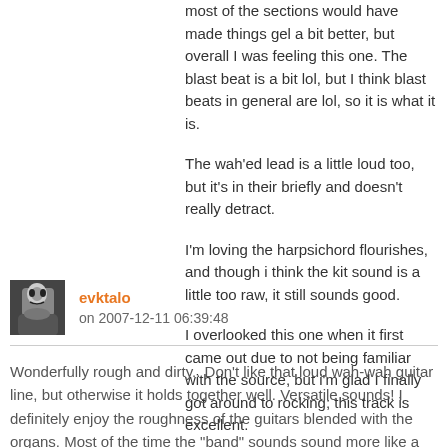most of the sections would have made things gel a bit better, but overall I was feeling this one. The blast beat is a bit lol, but I think blast beats in general are lol, so it is what it is.
The wah'ed lead is a little loud too, but it's in their briefly and doesn't really detract.
I'm loving the harpsichord flourishes, and though i think the kit sound is a little too raw, it still sounds good.
I overlooked this one when it first came out due to not being familiar with the source, but i'm glad I finally got around to rocking; this track is excellent.
evktalo
on 2007-12-11 06:39:48
Wonderfully rough and dirty.. Don't like that loud wah-wah guitar line, but otherwise it holds together well. Versatile sounds! I definitely enjoy the roughness of the guitars blended with the organs. Most of the time the "band" sounds sound more like a garage band than a home studio effort, which is good.
--Eino